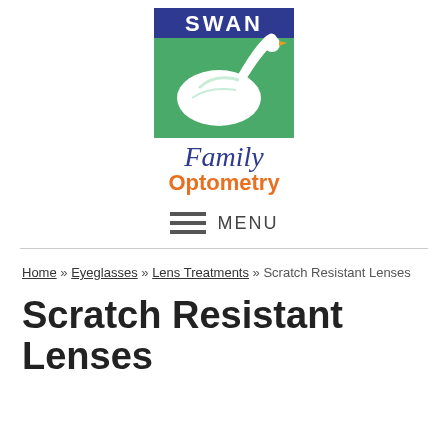[Figure (logo): Swan Family Optometry logo: green square with white swan silhouette, 'SWAN' text in navy blue at top, 'Family' in cursive navy script below, 'Optometry' in orange bold text]
≡ MENU
Home » Eyeglasses » Lens Treatments » Scratch Resistant Lenses
Scratch Resistant Lenses